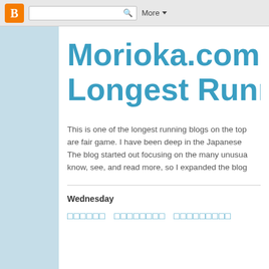[Figure (screenshot): Blogger navigation bar with orange Blogger icon, search box with magnifying glass, and More dropdown button]
Morioka.com - Longest Runn
This is one of the longest running blogs on the top... are fair game. I have been deep in the Japanese... The blog started out focusing on the many unusu... know, see, and read more, so I expanded the blo...
Wednesday
□□□□□□   □□□□□□□□   □□□□□□□□□